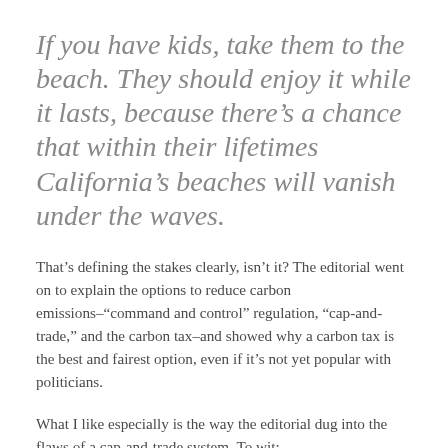If you have kids, take them to the beach. They should enjoy it while it lasts, because there's a chance that within their lifetimes California's beaches will vanish under the waves.
That's defining the stakes clearly, isn't it? The editorial went on to explain the options to reduce carbon emissions–"command and control" regulation, "cap-and-trade," and the carbon tax–and showed why a carbon tax is the best and fairest option, even if it's not yet popular with politicians.
What I like especially is the way the editorial dug into the flaws of a cap-and-trade system. To wit: